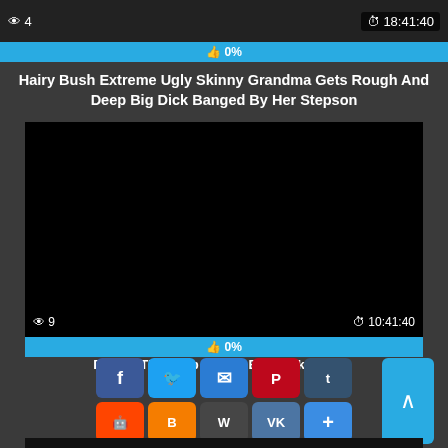👁 4   18:41:40
👍 0%
Hairy Bush Extreme Ugly Skinny Grandma Gets Rough And Deep Big Dick Banged By Her Stepson
[Figure (screenshot): Black video player area with view count 9 and duration 10:41:40]
👍 0%
Punish The Deep... With Big Cock
[Figure (infographic): Social share buttons: Facebook, Twitter, Email, Pinterest, Tumblr, Reddit, Blogger, WordPress, VK, Plus, and up-arrow button]